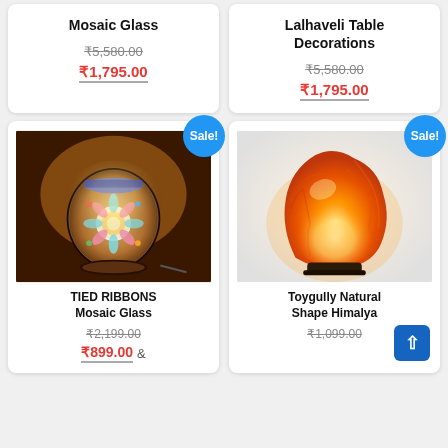Mosaic Glass
₹5,580.00
₹1,795.00
Lalhaveli Table Decorations
₹5,580.00
₹1,795.00
[Figure (photo): Mosaic glass decorative lamp glowing with colourful pattern on dark background, Sale badge]
TIED RIBBONS Mosaic Glass
₹2,199.00
₹899.00 &
[Figure (photo): Himalayan natural shape orange salt lamp glowing on dark base, Sale badge]
Toygully Natural Shape Himalya
₹1,099.00